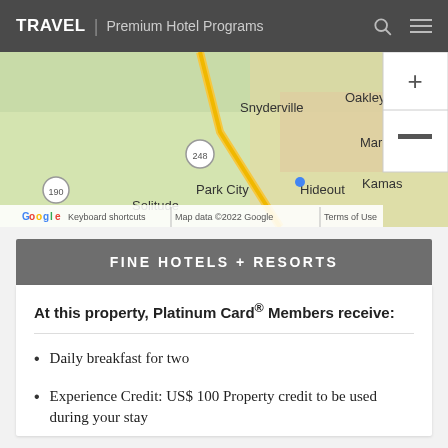TRAVEL | Premium Hotel Programs
[Figure (map): Google Maps showing Park City area including Snyderville, Oakley, Marion, Kamas, Hideout, Park City, Solitude areas with road 248 and 190 visible. Map data ©2022 Google.]
FINE HOTELS + RESORTS
At this property, Platinum Card® Members receive:
Daily breakfast for two
Experience Credit: US$ 100 Property credit to be used during your stay